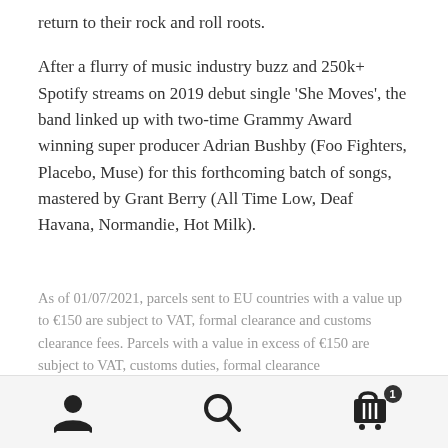return to their rock and roll roots.
After a flurry of music industry buzz and 250k+ Spotify streams on 2019 debut single 'She Moves', the band linked up with two-time Grammy Award winning super producer Adrian Bushby (Foo Fighters, Placebo, Muse) for this forthcoming batch of songs, mastered by Grant Berry (All Time Low, Deaf Havana, Normandie, Hot Milk).
As of 01/07/2021, parcels sent to EU countries with a value up to €150 are subject to VAT, formal clearance and customs clearance fees. Parcels with a value in excess of €150 are subject to VAT, customs duties, formal clearance
[user icon] [search icon] [cart icon with badge 1]